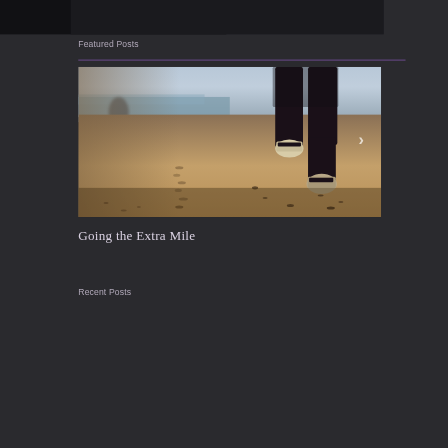Featured Posts
[Figure (photo): A person running on a sandy beach, shot from behind at ground level showing legs and sneakers mid-stride, with a blurred coastal background.]
Going the Extra Mile
Recent Posts